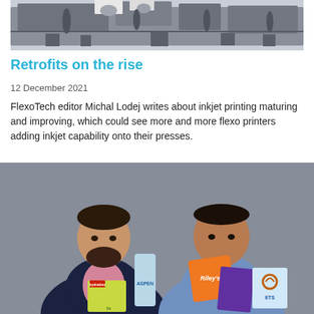[Figure (photo): Industrial printing machine / flexo press, partial view at top of page]
Retrofits on the rise
12 December 2021
FlexoTech editor Michal Lodej writes about inkjet printing maturing and improving, which could see more and more flexo printers adding inkjet capability onto their presses.
[Figure (photo): Two men holding branded packaging products (Aspen, Riley's, hydration, ETS) against a grey background]